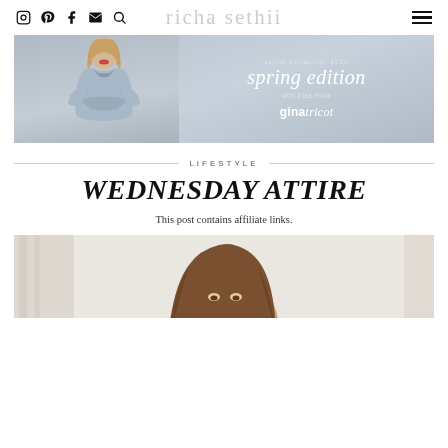richa sethii
[Figure (photo): Advertisement banner for Gina Tricot denim collection 2022 spring edition with Elsa Hosk, featuring a woman in a light blue denim jacket against a grey background, with text 'denim collection 2022 spring edition with Elsa Hosk ginatricot']
LIFESTYLE
WEDNESDAY ATTIRE
This post contains affiliate links.
[Figure (photo): Partial photo of a woman with long brown hair, photographed from above, against a light/white background with curtains visible]